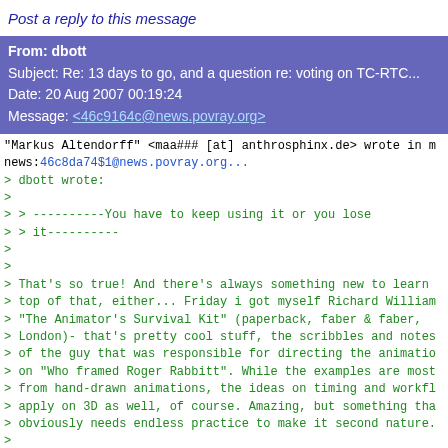Post a reply to this message
From: dbott
Subject: Re: 13 days to go, and a question re: voting on TC-RTC...
Date: 20 Aug 2007 00:19:24
Message: <46c9164c@news.povray.org>
"Markus Altendorff" <maa### [at] anthrosphinx.de> wrote in m
news:46c8da74$1@news.povray.org...
> dbott wrote:
>
> > ----------You have to keep using it or you lose
> > it----------
>
>
> That's so true! And there's always something new to learn
> top of that, either... Friday i got myself Richard William
> "The Animator's Survival Kit" (paperback, faber & faber,
> London)- that's pretty cool stuff, the scribbles and notes
> of the guy that was responsible for directing the animatio
> on "Who framed Roger Rabbitt". While the examples are most
> from hand-drawn animations, the ideas on timing and workfl
> apply on 3D as well, of course. Amazing, but something tha
> obviously needs endless practice to make it second nature.
>
> Well, looks like as of today, i've got enough render
> snippets to get at least a storyline with a "black robe" i
> it ready, even if i don't manage to complete the whole
> script i intended. :) (of course, re-cutting it would turn
> it into some sort of ordinary fantasy thing, which i
> originally wanted to make fun of ... :S